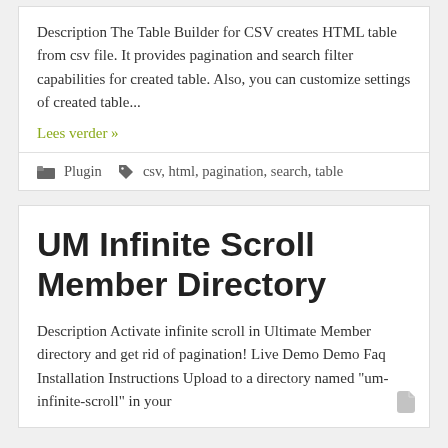Description The Table Builder for CSV creates HTML table from csv file. It provides pagination and search filter capabilities for created table. Also, you can customize settings of created table...
Lees verder »
Plugin   csv, html, pagination, search, table
UM Infinite Scroll Member Directory
Description Activate infinite scroll in Ultimate Member directory and get rid of pagination! Live Demo Demo Faq Installation Instructions Upload to a directory named "um-infinite-scroll" in your